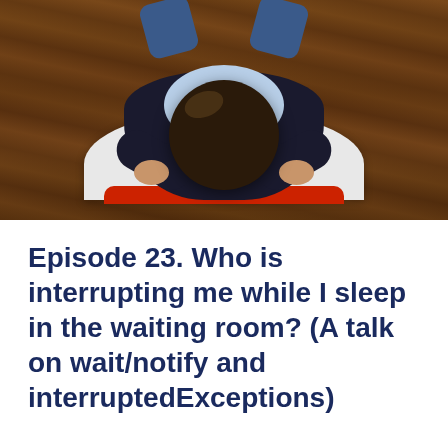[Figure (photo): Overhead view of a person lying/resting with their head down on folded arms on what appears to be a waiting room chair or floor area with wooden flooring visible. The person has dark hair, wearing a dark jacket and blue jeans, with a light blue shirt visible.]
Episode 23. Who is interrupting me while I sleep in the waiting room? (A talk on wait/notify and interruptedExceptions)